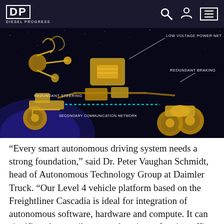DP DIESEL PROGRESS
[Figure (illustration): 3D golden render of a Freightliner Cascadia Level 4 autonomous truck chassis on a dark starfield background, with white callout lines pointing to four labeled components: 'LOW VOLTAGE POWER NET' (top right), 'REDUNDANT BRAKING' (right), 'REDUNDANT STEERING' (left), 'SECONDARY COMMUNICATION NETWORK' (bottom left). A dotted teal line runs along the driveshaft indicating the communication backbone.]
“Every smart autonomous driving system needs a strong foundation,” said Dr. Peter Vaughan Schmidt, head of Autonomous Technology Group at Daimler Truck. “Our Level 4 vehicle platform based on the Freightliner Cascadia is ideal for integration of autonomous software, hardware and compute. It can significantly contribute to enhancing safety in traffic thanks to its redundancy of systems and a multitude of